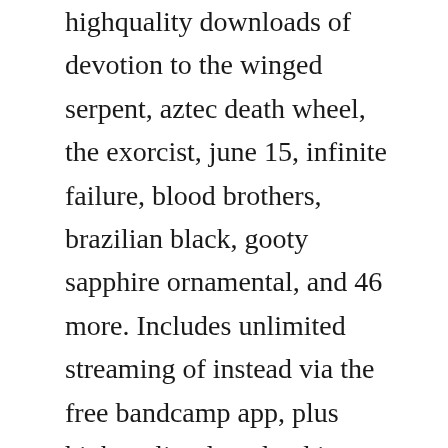highquality downloads of devotion to the winged serpent, aztec death wheel, the exorcist, june 15, infinite failure, blood brothers, brazilian black, gooty sapphire ornamental, and 46 more. Includes unlimited streaming of instead via the free bandcamp app, plus highquality download in mp3, flac and more.
Ianwill ianwill evolves in a melodic universe with metalcore and death trend, in a metal esthetic, powerful and incisive. Their performance was later released on youtube, and as a free mp3 download from nrk. As for